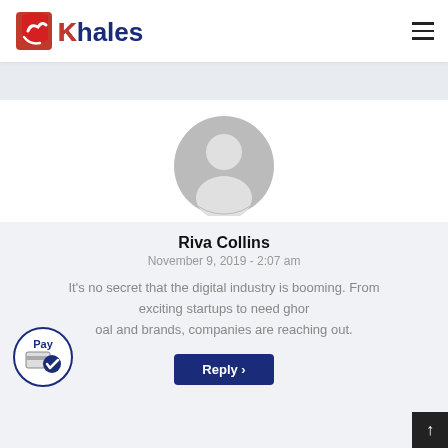[Figure (logo): Khales brand logo with red swoosh icon and dark blue text 'Khales']
[Figure (photo): Generic grey user avatar/profile silhouette circle]
Riva Collins
November 9, 2019 - 2:07 am
It's no secret that the digital industry is booming. From exciting startups to need ghor oal and brands, companies are reaching out.
[Figure (illustration): Pay badge icon - circular badge with 'Pay' text and credit card with checkmark]